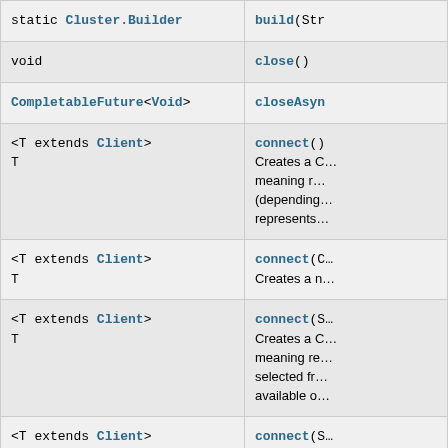| Type | Method and Description |
| --- | --- |
| static Cluster.Builder | build(Str… |
| void | close() |
| CompletableFuture<Void> | closeAsyn… |
| <T extends Client>
T | connect()
Creates a C… meaning r… (depending… represents… |
| <T extends Client>
T | connect(C…
Creates a n… |
| <T extends Client>
T | connect(S…
Creates a C… meaning re… selected fr… available o… |
| <T extends Client>
T | connect(S…
Creates a C… meaning r… |